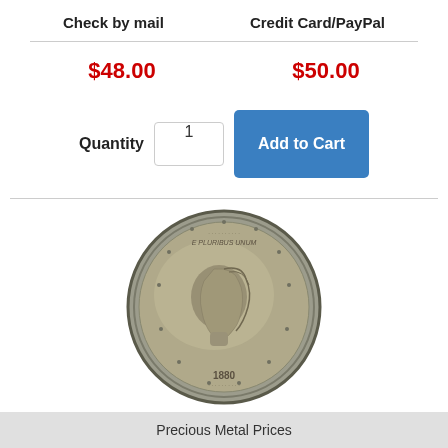| Check by mail | Credit Card/PayPal |
| --- | --- |
| $48.00 | $50.00 |
Quantity 1
Add to Cart
[Figure (photo): 1880-P Morgan Silver Dollar coin, obverse side, showing Lady Liberty profile, nicely circulated]
1880-P Morgan Silver Dollar Nicely Circulated - Great Set Builder - STOCK
Precious Metal Prices